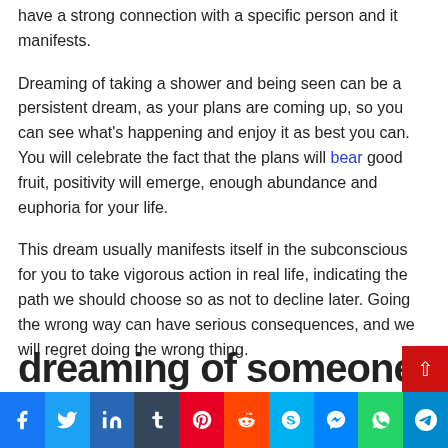have a strong connection with a specific person and it manifests.
Dreaming of taking a shower and being seen can be a persistent dream, as your plans are coming up, so you can see what's happening and enjoy it as best you can. You will celebrate the fact that the plans will bear good fruit, positivity will emerge, enough abundance and euphoria for your life.
This dream usually manifests itself in the subconscious for you to take vigorous action in real life, indicating the path we should choose so as not to decline later. Going the wrong way can have serious consequences, and we will regret doing the wrong thing.
Social share bar: Facebook, Twitter, LinkedIn, Tumblr, Pinterest, Reddit, Skype, Messenger, WhatsApp, Telegram